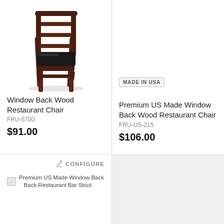[Figure (photo): Photo of a dark wood restaurant chair with black padded seat, window back style, viewed from a slight angle showing front and side]
Window Back Wood Restaurant Chair
FRU-5700
$91.00
MADE IN USA
Premium US Made Window Back Wood Restaurant Chair
FRU-US-215
$106.00
CONFIGURE
[Figure (photo): Broken image placeholder for Premium US Made Window Back Restaurant Bar Stool]